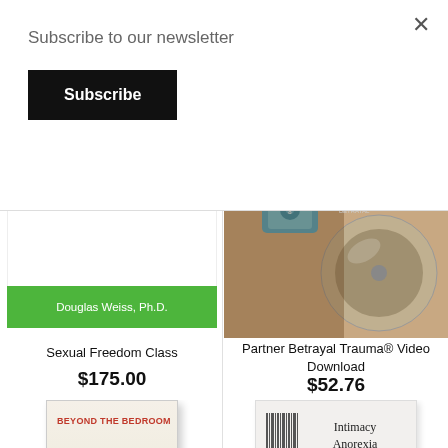Subscribe to our newsletter
Subscribe
×
[Figure (photo): Product image for Sexual Freedom Class with white background and green author bar showing Douglas Weiss, Ph.D.]
Sexual Freedom Class
$175.00
[Figure (photo): Product image for Partner Betrayal Trauma Video Download showing a DVD and photo]
Partner Betrayal Trauma® Video Download
$52.76
[Figure (photo): Book cover: Beyond the Bedroom - Healing for Adult Children]
[Figure (photo): DVD cover: Intimacy Anorexia The DVD]